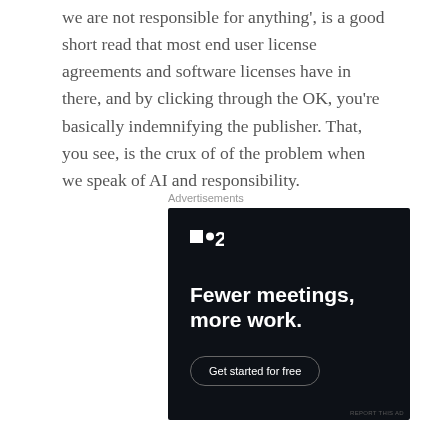we are not responsible for anything', is a good short read that most end user license agreements and software licenses have in there, and by clicking through the OK, you're basically indemnifying the publisher. That, you see, is the crux of of the problem when we speak of AI and responsibility.
Advertisements
[Figure (other): Advertisement for F2 app: dark background with F2 logo, headline 'Fewer meetings, more work.' and a 'Get started for free' button]